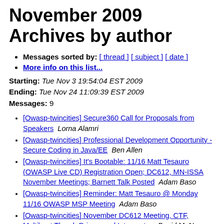November 2009 Archives by author
Messages sorted by: [ thread ] [ subject ] [ date ]
More info on this list...
Starting: Tue Nov 3 19:54:04 EST 2009
Ending: Tue Nov 24 11:09:39 EST 2009
Messages: 9
[Owasp-twincities] Secure360 Call for Proposals from Speakers   Lorna Alamri
[Owasp-twincities] Professional Development Opportunity - Secure Coding in Java/EE   Ben Allen
[Owasp-twincities] It's Bootable: 11/16 Matt Tesauro (OWASP Live CD) Registration Open; DC612, MN-ISSA November Meetings; Barnett Talk Posted   Adam Baso
[Owasp-twincities] Reminder: Matt Tesauro @ Monday 11/16 OWASP MSP Meeting   Adam Baso
[Owasp-twincities] November DC612 Meeting, CTF, Multiboot Thumb Drives, and Interceptor.   David M. N. Bryan
[Owasp-twincities] November DC612 Meeting, CTF...